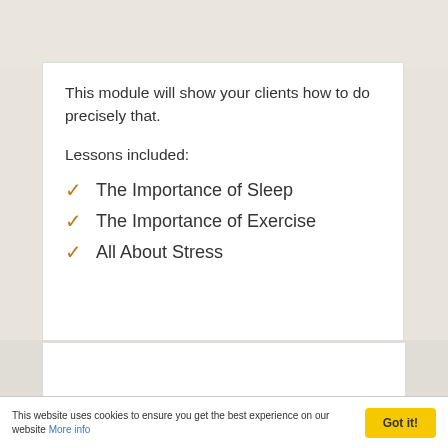This module will show your clients how to do precisely that.
Lessons included:
The Importance of Sleep
The Importance of Exercise
All About Stress
This website uses cookies to ensure you get the best experience on our website More info | Got it!